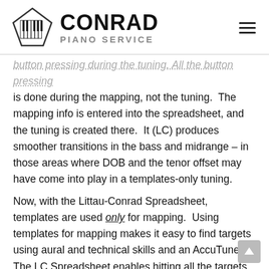CONRAD PIANO SERVICE
button pressing during the tuning. All the button pressing is done during the mapping, not the tuning. The mapping info is entered into the spreadsheet, and the tuning is created there. It (LC) produces smoother transitions in the bass and midrange – in those areas where DOB and the tenor offset may have come into play in a templates-only tuning.
Now, with the Littau-Conrad Spreadsheet, templates are used only for mapping. Using templates for mapping makes it easy to find targets using aural and technical skills and an AccuTuner. The LC Spreadsheet enables hitting all the targets exactly for the tuning. You can read more about how templates can be used for mapping the midrange and treble targets on other posts on this